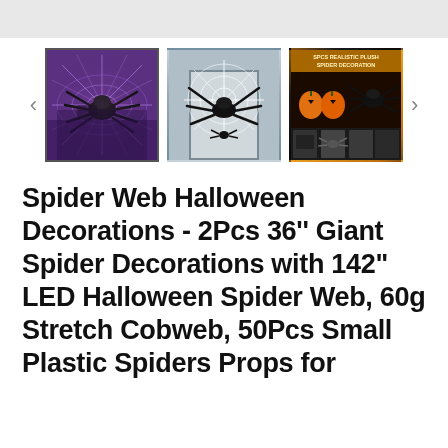[Figure (photo): Product image gallery showing three thumbnail photos of Halloween spider web decorations. First thumbnail (selected/highlighted): large black spider on illuminated purple LED spider web outdoors. Second thumbnail: large black spider next to a white spider web on a door. Third thumbnail: product packaging showing 'SPCS REALISTIC PLUSH SPIDER DECORATION' with pumpkins and spiders, plus small sub-thumbnail images below.]
Spider Web Halloween Decorations - 2Pcs 36'' Giant Spider Decorations with 142" LED Halloween Spider Web, 60g Stretch Cobweb, 50Pcs Small Plastic Spiders Props for